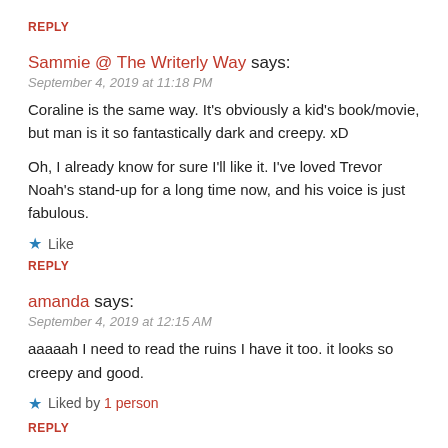REPLY
Sammie @ The Writerly Way says:
September 4, 2019 at 11:18 PM
Coraline is the same way. It's obviously a kid's book/movie, but man is it so fantastically dark and creepy. xD
Oh, I already know for sure I'll like it. I've loved Trevor Noah's stand-up for a long time now, and his voice is just fabulous.
Like
REPLY
amanda says:
September 4, 2019 at 12:15 AM
aaaaah I need to read the ruins I have it too. it looks so creepy and good.
Liked by 1 person
REPLY